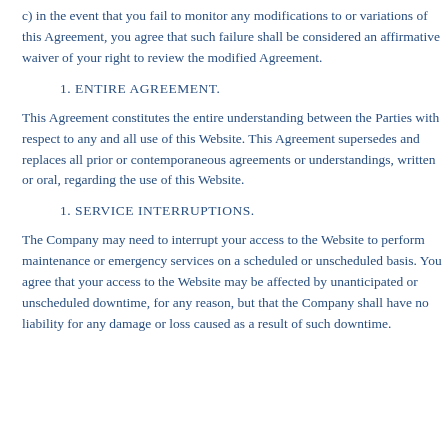c) in the event that you fail to monitor any modifications to or variations of this Agreement, you agree that such failure shall be considered an affirmative waiver of your right to review the modified Agreement.
1. ENTIRE AGREEMENT.
This Agreement constitutes the entire understanding between the Parties with respect to any and all use of this Website. This Agreement supersedes and replaces all prior or contemporaneous agreements or understandings, written or oral, regarding the use of this Website.
1. SERVICE INTERRUPTIONS.
The Company may need to interrupt your access to the Website to perform maintenance or emergency services on a scheduled or unscheduled basis. You agree that your access to the Website may be affected by unanticipated or unscheduled downtime, for any reason, but that the Company shall have no liability for any damage or loss caused as a result of such downtime.